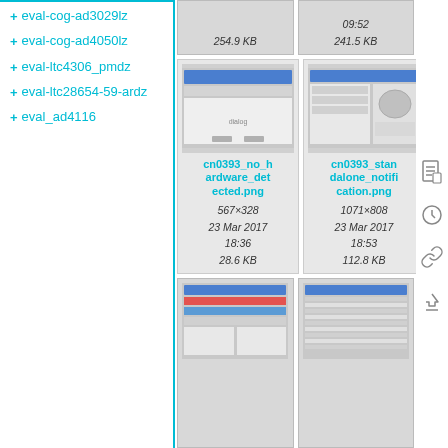+ eval-cog-ad3029lz
+ eval-cog-ad4050lz
+ eval-ltc4306_pmdz
+ eval-ltc28654-59-ardz
+ eval_ad4116
[Figure (screenshot): Partially visible file card with size 254.9 KB]
[Figure (screenshot): Partially visible file card with timestamp 09:52 and size 241.5 KB]
[Figure (screenshot): cn0393_no_hardware_detected.png thumbnail - software dialog screenshot]
cn0393_no_hardware_detected.png
567×328
23 Mar 2017 18:36
28.6 KB
[Figure (screenshot): cn0393_standalone_notification.png thumbnail - software diagram screenshot]
cn0393_standalone_notification.png
1071×808
23 Mar 2017 18:53
112.8 KB
[Figure (screenshot): Partially visible file card - software screenshot with colored bars]
[Figure (screenshot): Partially visible file card - software screenshot with data table]